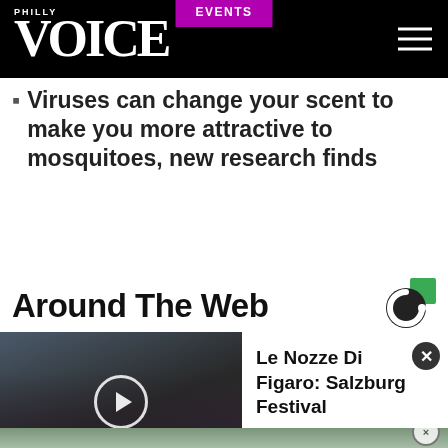PHILLY VOICE - EVENTS
Viruses can change your scent to make you more attractive to mosquitoes, new research finds
Around The Web
[Figure (screenshot): Video player showing a woman with a headband in front of a brick wall, with a play button overlay. Right side shows a content card titled 'Le Nozze Di Figaro: Salzburg Festival' with a close button.]
[Figure (photo): Bottom strip showing blurred green and grey tones, with a small close (X) button in the bottom right corner.]